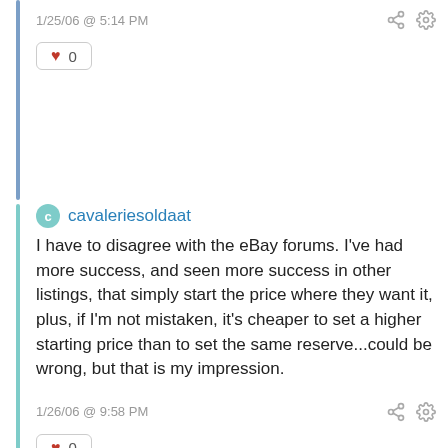1/25/06 @ 5:14 PM
0
cavaleriesoldaat
I have to disagree with the eBay forums. I've had more success, and seen more success in other listings, that simply start the price where they want it, plus, if I'm not mistaken, it's cheaper to set a higher starting price than to set the same reserve...could be wrong, but that is my impression.
1/26/06 @ 9:58 PM
0